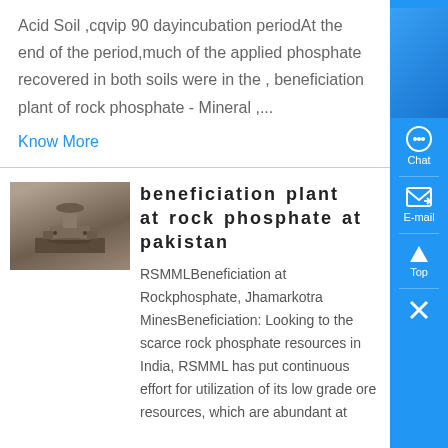Acid Soil ,cqvip 90 dayincubation periodAt the end of the period,much of the applied phosphate recovered in both soils were in the , beneficiation plant of rock phosphate - Mineral ,...
Know More
beneficiation plant at rock phosphate at pakistan
[Figure (photo): Industrial machinery/equipment in a processing plant setting]
RSMMLBeneficiation at Rockphosphate, Jhamarkotra MinesBeneficiation: Looking to the scarce rock phosphate resources in India, RSMML has put continuous effort for utilization of its low grade ore resources, which are abundant at
[Figure (other): Sidebar navigation with Chat, E-mail, Top, and close buttons on blue background]